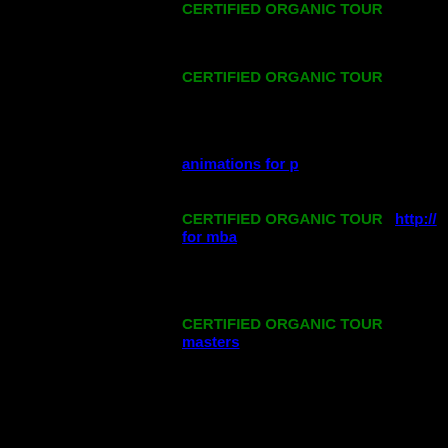CERTIFIED ORGANIC TOUR
CERTIFIED ORGANIC TOUR
animations for p
CERTIFIED ORGANIC TOUR   http:// for mba
CERTIFIED ORGANIC TOUR masters
July